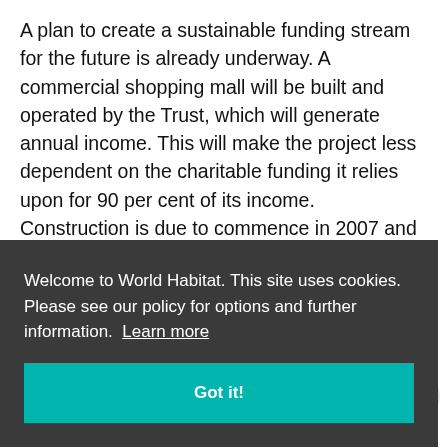A plan to create a sustainable funding stream for the future is already underway. A commercial shopping mall will be built and operated by the Trust, which will generate annual income. This will make the project less dependent on the charitable funding it relies upon for 90 per cent of its income. Construction is due to commence in 2007 and will be completed by 2009. The revenue from the mall
[Figure (screenshot): Cookie consent banner overlay with dark background (#3a3a3a). Text reads: 'Welcome to World Habitat. This site uses cookies. Please see our policy for options and further information. Learn more'. Below is a teal 'Got it!' button.]
the self-reliance amongst the residents and in some cases